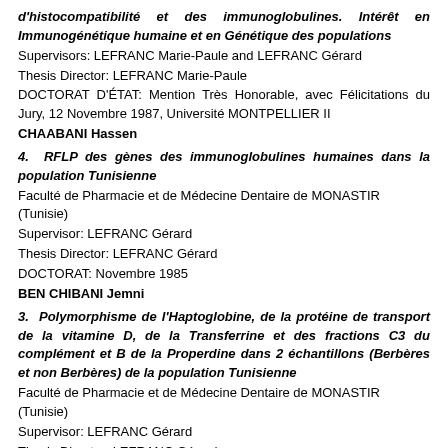d'histocompatibilité et des immunoglobulines. Intérêt en Immunogénétique humaine et en Génétique des populations
Supervisors: LEFRANC Marie-Paule and LEFRANC Gérard
Thesis Director: LEFRANC Marie-Paule
DOCTORAT D'ÉTAT: Mention Très Honorable, avec Félicitations du Jury, 12 Novembre 1987, Université MONTPELLIER II
CHAABANI Hassen
4. RFLP des gènes des immunoglobulines humaines dans la population Tunisienne
Faculté de Pharmacie et de Médecine Dentaire de MONASTIR (Tunisie)
Supervisor: LEFRANC Gérard
Thesis Director: LEFRANC Gérard
DOCTORAT: Novembre 1985
BEN CHIBANI Jemni
3. Polymorphisme de l'Haptoglobine, de la protéine de transport de la vitamine D, de la Transferrine et des fractions C3 du complément et B de la Properdine dans 2 échantillons (Berbères et non Berbères) de la population Tunisienne
Faculté de Pharmacie et de Médecine Dentaire de MONASTIR (Tunisie)
Supervisor: LEFRANC Gérard
Thesis Director: LEFRANC Gérard
DOCTORAT DE 3ème CYCLE: 19 février 1983
CHAABANI Hassen
2. Contribution à la connaissance séro-anthropologique de